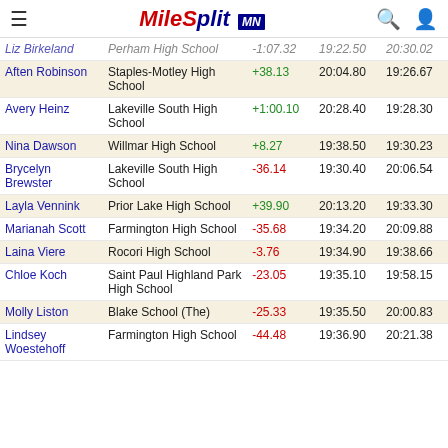MileSplit MN
| Name | School | Diff | Time1 | Time2 |
| --- | --- | --- | --- | --- |
| Liz Birkeland | Perham High School | -1:07.32 | 19:22.50 | 20:30.02 |
| Aften Robinson | Staples-Motley High School | +38.13 | 20:04.80 | 19:26.67 |
| Avery Heinz | Lakeville South High School | +1:00.10 | 20:28.40 | 19:28.30 |
| Nina Dawson | Willmar High School | +8.27 | 19:38.50 | 19:30.23 |
| Brycelyn Brewster | Lakeville South High School | -36.14 | 19:30.40 | 20:06.54 |
| Layla Vennink | Prior Lake High School | +39.90 | 20:13.20 | 19:33.30 |
| Marianah Scott | Farmington High School | -35.68 | 19:34.20 | 20:09.88 |
| Laina Viere | Rocori High School | -3.76 | 19:34.90 | 19:38.66 |
| Chloe Koch | Saint Paul Highland Park High School | -23.05 | 19:35.10 | 19:58.15 |
| Molly Liston | Blake School (The) | -25.33 | 19:35.50 | 20:00.83 |
| Lindsey Woestehoff | Farmington High School | -44.48 | 19:36.90 | 20:21.38 |